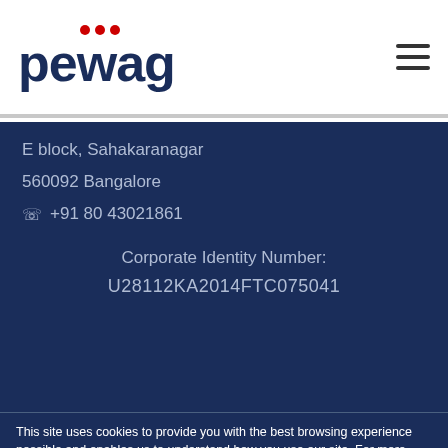[Figure (logo): pewag company logo with red dots above the letters 'wag' and dark blue text]
E block, Sahakaranagar
560092 Bangalore
☏  +91 80 43021861
Corporate Identity Number:
U28112KA2014FTC075041
This site uses cookies to provide you with the best browsing experience possible and enables us to understand how you use our site. For more details click here.
Technically required cookies
Cookies required for marketing purposes
OK